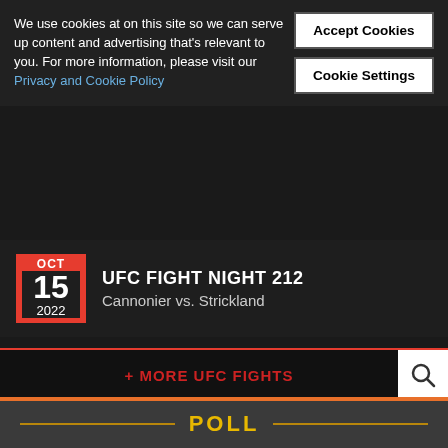We use cookies at on this site so we can serve up content and advertising that's relevant to you. For more information, please visit our Privacy and Cookie Policy
Accept Cookies
Cookie Settings
UFC FIGHT NIGHT 212
Cannonier vs. Strickland
Oct 15 2022
+ MORE UFC FIGHTS
POLL
WHO WINS THE REMATCH FRIDAY AT ONE ON PRIME VIDEO 1?
ADRIANO MORAES
DEMETRIOUS JOHNSON